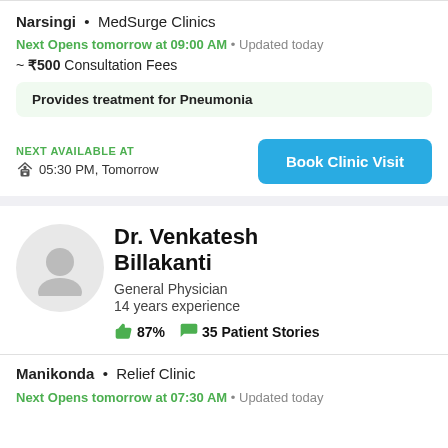Narsingi • MedSurge Clinics
Next Opens tomorrow at 09:00 AM • Updated today
~ ₹500 Consultation Fees
Provides treatment for Pneumonia
NEXT AVAILABLE AT
05:30 PM, Tomorrow
Book Clinic Visit
Dr. Venkatesh Billakanti
General Physician
14 years experience
87% 35 Patient Stories
Manikonda • Relief Clinic
Next Opens tomorrow at 07:30 AM • Updated today